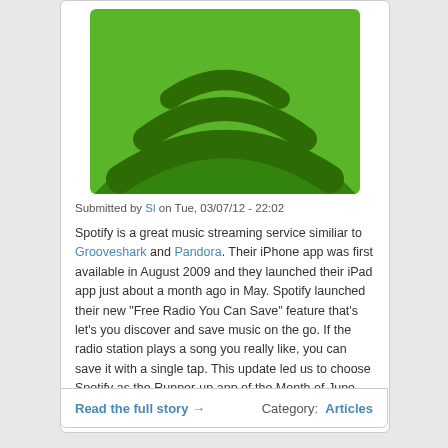[Figure (logo): Spotify app icon showing green background with dark green sound wave arcs logo, cropped at top]
Submitted by Sl on Tue, 03/07/12 - 22:02
Spotify is a great music streaming service similiar to Grooveshark and Pandora. Their iPhone app was first available in August 2009 and they launched their iPad app just about a month ago in May. Spotify launched their new "Free Radio You Can Save" feature that's let's you discover and save music on the go. If the radio station plays a song you really like, you can save it with a single tap. This update led us to choose Spotify as the Runner-up app of the Month of June. Read inside for the review.
Read the full story →
Category: Articles